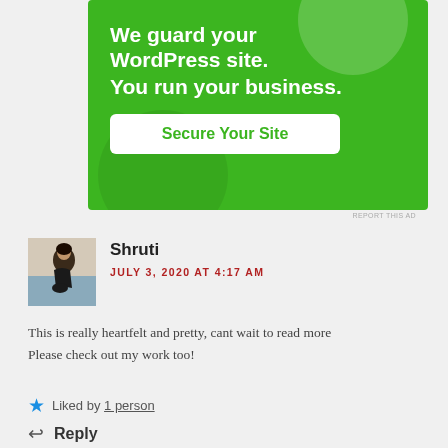[Figure (screenshot): Green advertisement banner for WordPress security. Text reads: 'We guard your WordPress site. You run your business.' with a white button 'Secure Your Site'.]
REPORT THIS AD
Shruti
JULY 3, 2020 AT 4:17 AM
This is really heartfelt and pretty, cant wait to read more Please check out my work too!
Liked by 1 person
Reply